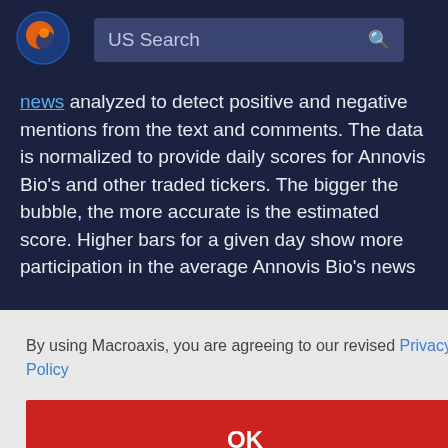[Figure (logo): Macroaxis logo — circular icon with orange and blue design]
US Search
news analyzed to detect positive and negative mentions from the text and comments. The data is normalized to provide daily scores for Annovis Bio's and other traded tickers. The bigger the bubble, the more accurate is the estimated score. Higher bars for a given day show more participation in the average Annovis Bio's news
By using Macroaxis, you are agreeing to our revised Privacy Policy
re
arket's
market
to the
OK
investment community. So, suppose investors can